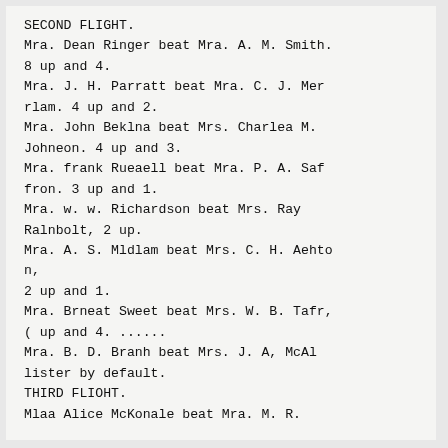SECOND FLIGHT.
Mra. Dean Ringer beat Mra. A. M. Smith. 8 up and 4.
Mra. J. H. Parratt beat Mra. C. J. Merrlam. 4 up and 2.
Mra. John Beklna beat Mrs. Charlea M. Johneon. 4 up and 3.
Mra. frank Rueaell beat Mra. P. A. Saffron. 3 up and 1.
Mra. w. w. Richardson beat Mrs. Ray Ralnbolt, 2 up.
Mra. A. S. Mldlam beat Mrs. C. H. Aehton,
2 up and 1.
Mra. Brneat Sweet beat Mrs. W. B. Tafr, ( up and 4. ......
Mra. B. D. Branh beat Mrs. J. A, McAllister by default.
THIRD FLIOHT.
Mlaa Alice McKonale beat Mra. M. R.